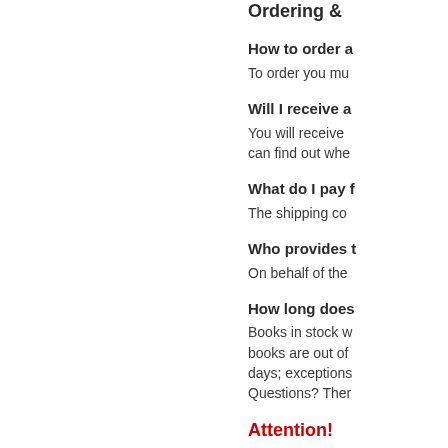Ordering &…
How to order a…
To order you mu…
Will I receive a…
You will receive… can find out whe…
What do I pay f…
The shipping co…
Who provides t…
On behalf of the…
How long does …
Books in stock w… books are out of… days; exceptions… Questions? Ther…
Attention!